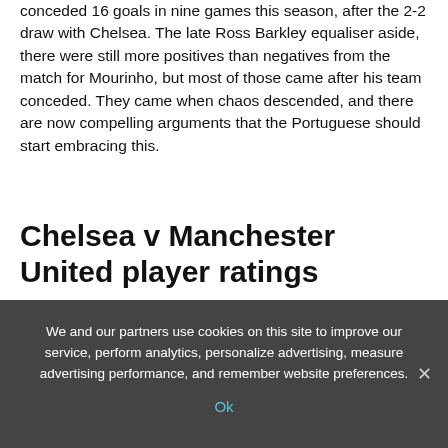conceded 16 goals in nine games this season, after the 2-2 draw with Chelsea. The late Ross Barkley equaliser aside, there were still more positives than negatives from the match for Mourinho, but most of those came after his team conceded. They came when chaos descended, and there are now compelling arguments that the Portuguese should start embracing this.
Chelsea v Manchester United player ratings
We and our partners use cookies on this site to improve our service, perform analytics, personalize advertising, measure advertising performance, and remember website preferences.